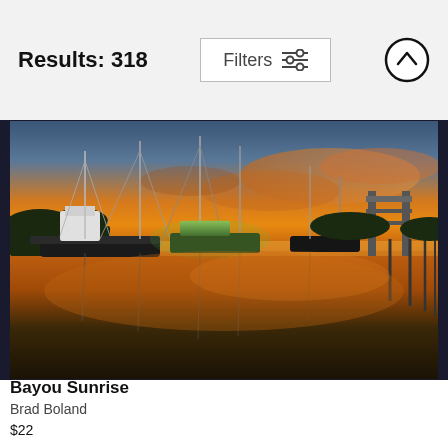Results: 318
Filters
[Figure (photo): Photograph of a bayou at sunrise with fishing/shrimp boats docked, masts reflecting in calm water, dramatic orange and blue sky with clouds lit by the rising sun, and an industrial crane structure visible on the right side.]
Bayou Sunrise
Brad Boland
$22